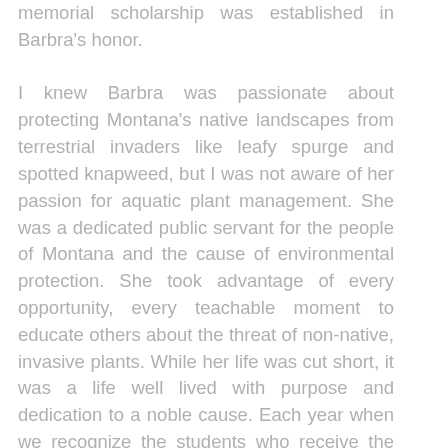memorial scholarship was established in Barbra's honor.

I knew Barbra was passionate about protecting Montana's native landscapes from terrestrial invaders like leafy spurge and spotted knapweed, but I was not aware of her passion for aquatic plant management. She was a dedicated public servant for the people of Montana and the cause of environmental protection. She took advantage of every opportunity, every teachable moment to educate others about the threat of non-native, invasive plants. While her life was cut short, it was a life well lived with purpose and dedication to a noble cause. Each year when we recognize the students who receive the Barbra H. Mullin travel scholarships let us take a moment to rededicate ourselves to the pursuit of environmental protection through aquatic plant management.